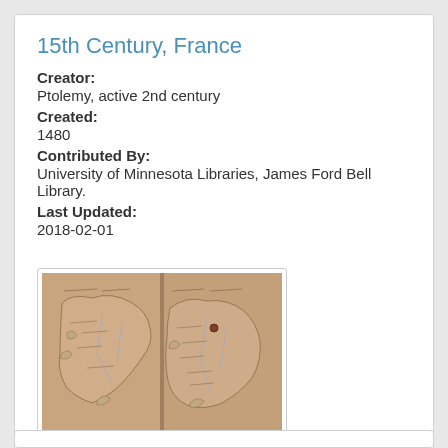15th Century, France
Creator:
Ptolemy, active 2nd century
Created:
1480
Contributed By:
University of Minnesota Libraries, James Ford Bell Library.
Last Updated:
2018-02-01
[Figure (map): An old manuscript map showing geographical outlines, likely of a region, rendered in muted tan/brown tones with hand-drawn coastlines and features, displayed as two open book pages.]